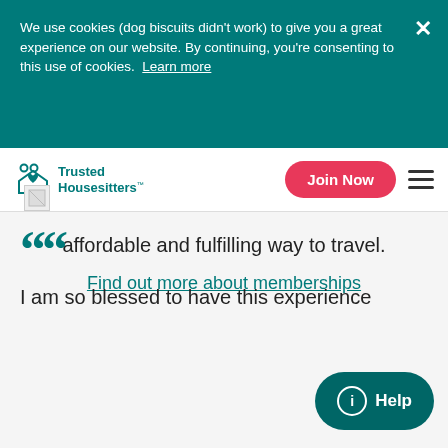We use cookies (dog biscuits didn't work) to give you a great experience on our website. By continuing, you're consenting to this use of cookies.  Learn more
Trusted Housesitters™  |  Join Now
affordable and fulfilling way to travel.
Find out more about memberships
[Figure (other): Broken image placeholder icon]
““
I am so blessed to have this experience